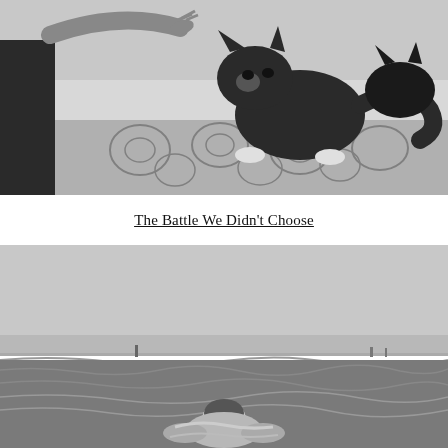[Figure (photo): Black and white photo of a person's hand reaching toward a cat sitting on a patterned bedspread. The cat appears to be a dark tabby/tortoiseshell. A person in a dark tank top is partially visible on the left side.]
The Battle We Didn't Choose
[Figure (photo): Black and white photo of a person swimming in the ocean, viewed from behind. The ocean extends to the horizon under an overcast sky. Small figures are visible in the far distance along the shoreline.]